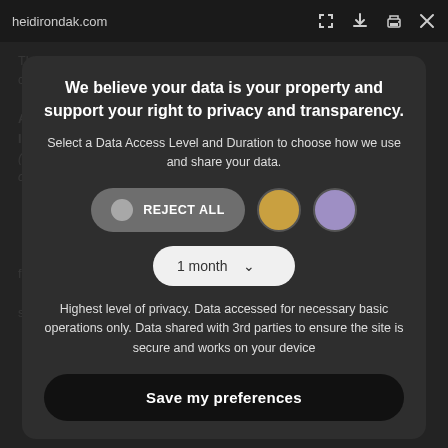heidirondak.com
The AIDA principle is a fundamental concept for anything concerning advertising and marketing...ATTENTION (somebody's attention is engaged)– INTEREST – DESIRE (the customer desires the item) – ACTION (the customer buys it)...future purchases too. Therefore brands create sympathy...
We believe your data is your property and support your right to privacy and transparency.
Select a Data Access Level and Duration to choose how we use and share your data.
REJECT ALL
1 month
Highest level of privacy. Data accessed for necessary basic operations only. Data shared with 3rd parties to ensure the site is secure and works on your device
Save my preferences